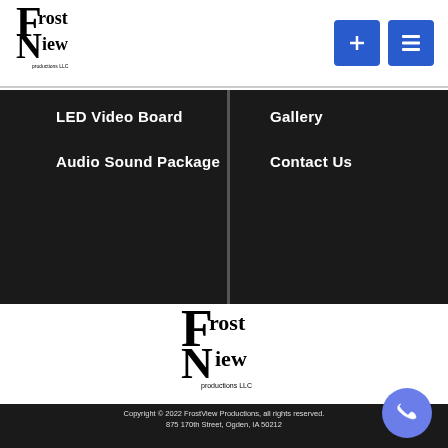[Figure (logo): FrostView Productions LLC logo in header, black serif lettering with stylized F and N]
[Figure (other): Two blue square buttons: one with a plus sign, one with a list/menu icon]
LED Video Board
Audio Sound Package
Gallery
Contact Us
[Figure (logo): FrostView Productions LLC logo centered, black serif lettering with stylized F and N]
Copyright © 2022 FrostView Productions, all rights reserved.
875 170th Street,  Ogden, IA 50212